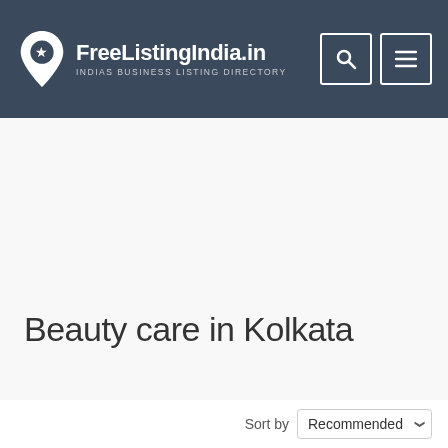FreeListingIndia.in — INDIAS BUSINESS LISTING DIRECTORY
Beauty care in Kolkata
Sort by Recommended